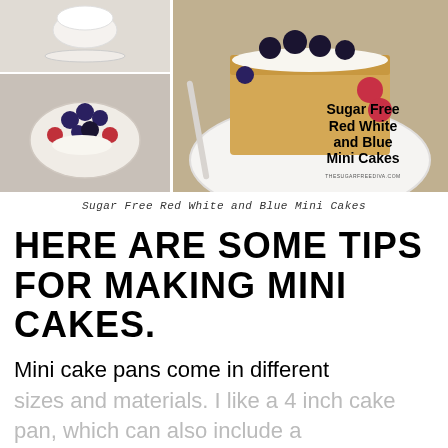[Figure (photo): Photo collage of mini cakes with berries — top-left shows a white cake stand with white cake, bottom-left shows a small cake/tart with blueberries, raspberries and blackberries on a white plate, right side shows a golden mini cake with blackberries, blueberries, and raspberries with text overlay reading 'Sugar Free Red White and Blue Mini Cakes' and website 'thesugarfreediva.com']
Sugar Free Red White and Blue Mini Cakes
HERE ARE SOME TIPS FOR MAKING MINI CAKES.
Mini cake pans come in different sizes and materials. I like a 4 inch cake pan, which can also include a